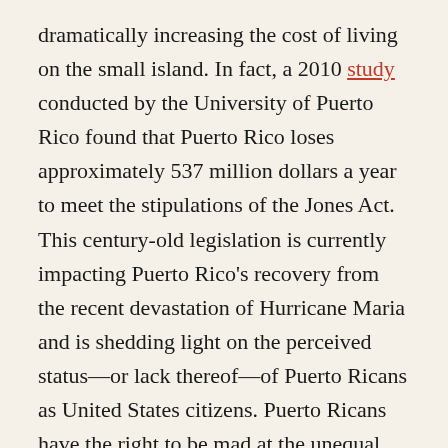dramatically increasing the cost of living on the small island. In fact, a 2010 study conducted by the University of Puerto Rico found that Puerto Rico loses approximately 537 million dollars a year to meet the stipulations of the Jones Act. This century-old legislation is currently impacting Puerto Rico's recovery from the recent devastation of Hurricane Maria and is shedding light on the perceived status—or lack thereof—of Puerto Ricans as United States citizens. Puerto Ricans have the right to be mad at the unequal treatment they are receiving, just as the early colonists of the United States rebelled against their lack of representation in British Parliament.